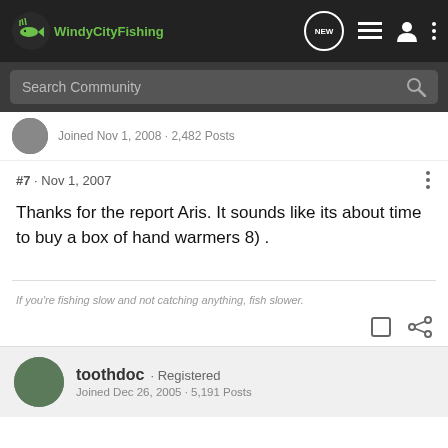WindyCityFishing
Search Community
Joined Nov 1, 2008 · 2,482 Posts
#7 · Nov 1, 2007
Thanks for the report Aris. It sounds like its about time to buy a box of hand warmers 8) .
If you're fishing slow and not catching anything, fish slower.
toothdoc · Registered
Joined Dec 26, 2005 · 5,191 Posts